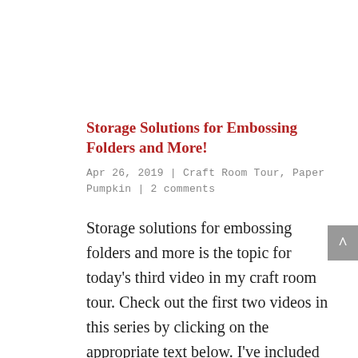Storage Solutions for Embossing Folders and More!
Apr 26, 2019 | Craft Room Tour, Paper Pumpkin | 2 comments
Storage solutions for embossing folders and more is the topic for today’s third video in my craft room tour. Check out the first two videos in this series by clicking on the appropriate text below. I’ve included lots of organization and storage tips! Video…